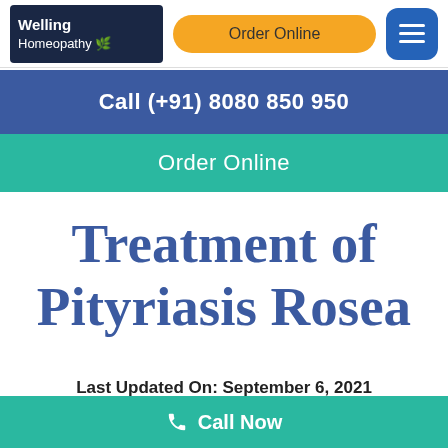[Figure (logo): Welling Homeopathy logo with dark blue background and white text]
Order Online
[Figure (other): Blue hamburger menu button]
Call (+91) 8080 850 950
Order Online
Treatment of Pityriasis Rosea
Last Updated On: September 6, 2021
Call Now